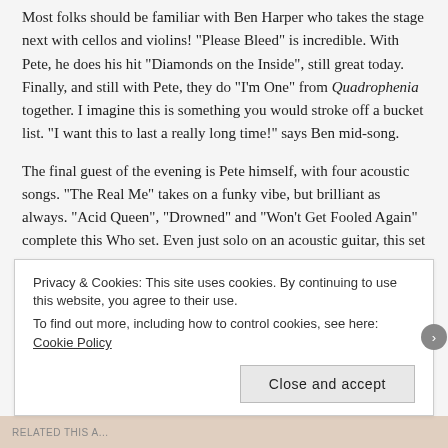Most folks should be familiar with Ben Harper who takes the stage next with cellos and violins! “Please Bleed” is incredible. With Pete, he does his hit “Diamonds on the Inside”, still great today. Finally, and still with Pete, they do “I’m One” from Quadrophenia together. I imagine this is something you would stroke off a bucket list. “I want this to last a really long time!” says Ben mid-song.
The final guest of the evening is Pete himself, with four acoustic songs. “The Real Me” takes on a funky vibe, but brilliant as always. “Acid Queen”, “Drowned” and “Won’t Get Fooled Again” complete this Who set. Even just solo on an acoustic guitar, this set is incredible.
Townsend’s presence and expertise seek through every note...
Privacy & Cookies: This site uses cookies. By continuing to use this website, you agree to their use. To find out more, including how to control cookies, see here: Cookie Policy
Close and accept